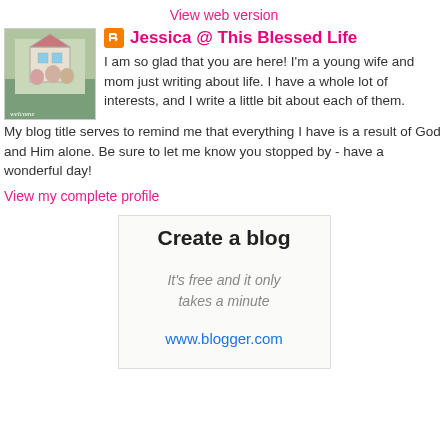View web version
[Figure (photo): Profile photo showing a family — woman and man with child outdoors]
Jessica @ This Blessed Life
I am so glad that you are here! I'm a young wife and mom just writing about life. I have a whole lot of interests, and I write a little bit about each of them. My blog title serves to remind me that everything I have is a result of God and Him alone. Be sure to let me know you stopped by - have a wonderful day!
View my complete profile
Create a blog
It's free and it only takes a minute
www.blogger.com